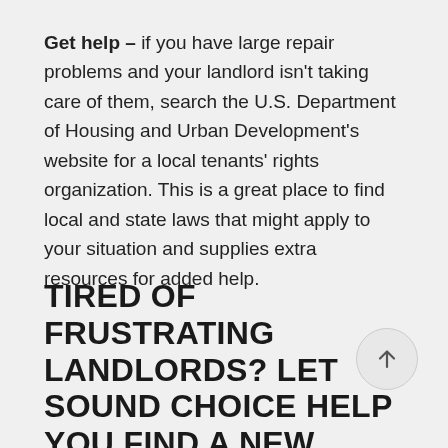Get help – if you have large repair problems and your landlord isn't taking care of them, search the U.S. Department of Housing and Urban Development's website for a local tenants' rights organization. This is a great place to find local and state laws that might apply to your situation and supplies extra resources for added help.
TIRED OF FRUSTRATING LANDLORDS? LET SOUND CHOICE HELP YOU FIND A NEW HOME THAT YOU'LL LOVE AND ENJOY!
[Figure (other): Circular scroll-to-top button with an upward arrow icon]